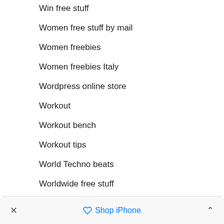Win free stuff
Women free stuff by mail
Women freebies
Women freebies Italy
Wordpress online store
Workout
Workout bench
Workout tips
World Techno beats
Worldwide free stuff
Worldwide Freebies
Worldwide freebies hunters
× Shop iPhone ∧